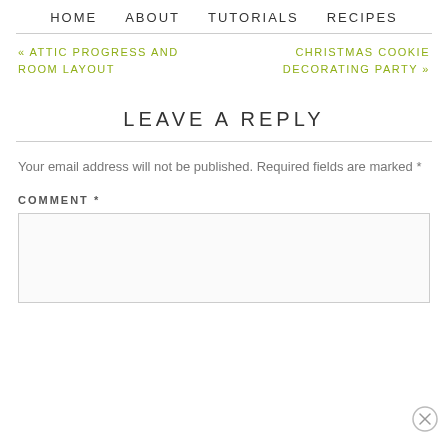HOME   ABOUT   TUTORIALS   RECIPES
« ATTIC PROGRESS AND ROOM LAYOUT
CHRISTMAS COOKIE DECORATING PARTY »
LEAVE A REPLY
Your email address will not be published. Required fields are marked *
COMMENT *